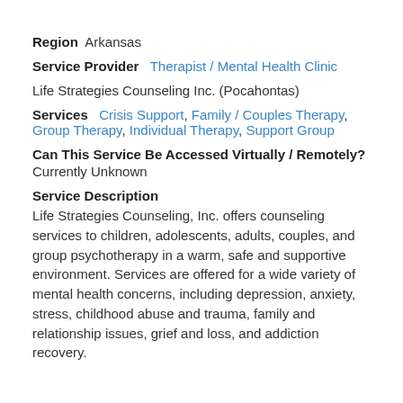Region  Arkansas
Service Provider   Therapist / Mental Health Clinic
Life Strategies Counseling Inc. (Pocahontas)
Services  Crisis Support, Family / Couples Therapy, Group Therapy, Individual Therapy, Support Group
Can This Service Be Accessed Virtually / Remotely?
Currently Unknown
Service Description
Life Strategies Counseling, Inc. offers counseling services to children, adolescents, adults, couples, and group psychotherapy in a warm, safe and supportive environment. Services are offered for a wide variety of mental health concerns, including depression, anxiety, stress, childhood abuse and trauma, family and relationship issues, grief and loss, and addiction recovery.